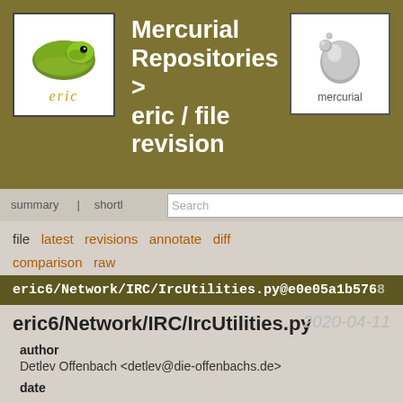[Figure (logo): eric IDE logo with green snake image and 'eric' text, and Mercurial logo with silver droplet icon and 'mercurial' text, on an olive/khaki colored banner]
Mercurial Repositories > eric / file revision
summary | shortlog | changelog | graph | tags
file  latest  revisions  annotate  diff  comparison  raw
eric6/Network/IRC/IrcUtilities.py@e0e05a1b5768
eric6/Network/IRC/IrcUtilities.py
2020-04-11
author
Detlev Offenbach <detlev@die-offenbachs.de>
date